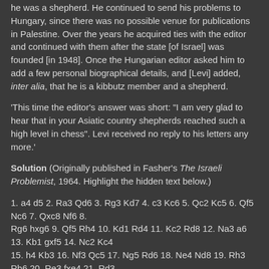he was a shepherd. He continued to send his problems to Hungary, since there was no possible venue for publications in Palestine. Over the years he acquired ties with the editor and continued with them after the state [of Israel] was founded [in 1948]. Once the Hungarian editor asked him to add a few personal biographical details, and [Levi] added, inter alia, that he is a kibbutz member and a shepherd.
'This time the editor's answer was short: "I am very glad to hear that in your Asiatic country shepherds reached such a high level in chess". Levi received no reply to his letters any more.'
Solution (Originally published in Fasher's The Israeli Problemist, 1964. Highlight the hidden text below.)
1. a4 d5 2. Ra3 Qd6 3. Rg3 Kd7 4. c3 Kc6 5. Qc2 Kc5 6. Qf5 Nc6 7. Qxc8 Nf6 8. Rg6 hxg6 9. Qf5 Rh4 10. Kd1 Rd4 11. Kc2 Rd8 12. Na3 a6 13. Kb1 gxf5 14. Nc2 Kc4 15. h4 Kb3 16. Nf3 Qc5 17. Ng5 Rd6 18. Ne4 Nd8 19. Rh3 Rb6 20. Re3 fxe4 21. Rd3 exd3 22. Ka1 dxc2 23. d3 Ng4 24. Bf4 Ne3 25. Be5 c6 26. Bf6 gxf6 27. fxe3